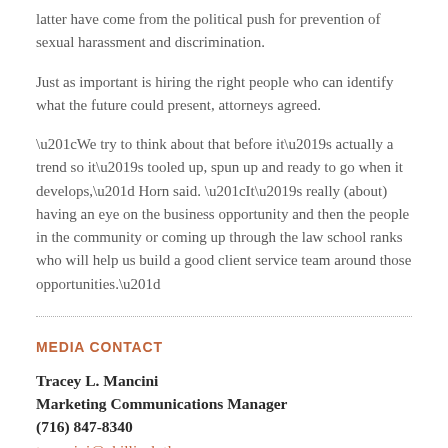latter have come from the political push for prevention of sexual harassment and discrimination.
Just as important is hiring the right people who can identify what the future could present, attorneys agreed.
“We try to think about that before it’s actually a trend so it’s tooled up, spun up and ready to go when it develops,” Horn said. “It’s really (about) having an eye on the business opportunity and then the people in the community or coming up through the law school ranks who will help us build a good client service team around those opportunities.”
MEDIA CONTACT
Tracey L. Mancini
Marketing Communications Manager
(716) 847-8340
tmancini@phillipslytle.com